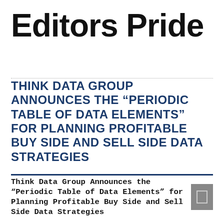Editors Pride
THINK DATA GROUP ANNOUNCES THE “PERIODIC TABLE OF DATA ELEMENTS” FOR PLANNING PROFITABLE BUY SIDE AND SELL SIDE DATA STRATEGIES
Think Data Group Announces the “Periodic Table of Data Elements” for Planning Profitable Buy Side and Sell Side Data Strategies